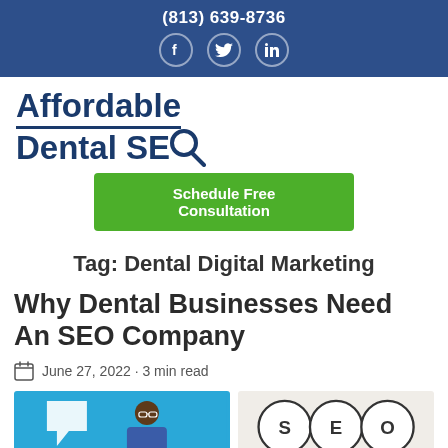(813) 639-8736
[Figure (logo): Social media icons: Facebook, Twitter, LinkedIn in white circles on dark blue background]
[Figure (logo): Affordable Dental SEO logo with magnifying glass Q icon]
Schedule Free Consultation
Tag: Dental Digital Marketing
Why Dental Businesses Need An SEO Company
June 27, 2022 · 3 min read
[Figure (illustration): Two article thumbnail images: left shows a blue background with a person at a computer with location pin graphic; right shows SEO letters in circular stamps]